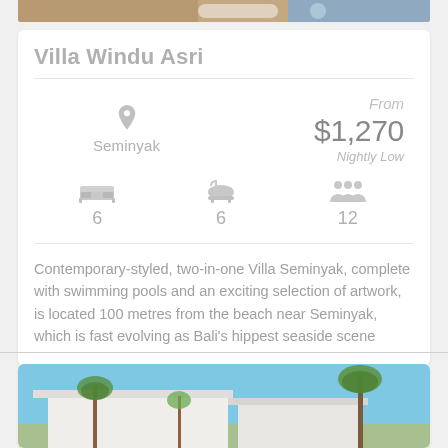[Figure (photo): Top edge of a photo showing a dining/pool area of a villa]
Villa Windu Asri
Seminyak
From
$1,270
Nightly Low
6
6
12
Contemporary-styled, two-in-one Villa Seminyak, complete with swimming pools and an exciting selection of artwork, is located 100 metres from the beach near Seminyak, which is fast evolving as Bali's hippest seaside scene
[Figure (photo): Bottom photo showing villa exterior with palm trees and blue sky]